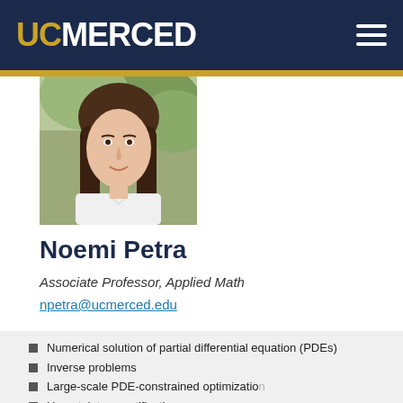UC MERCED
[Figure (photo): Headshot of Noemi Petra, a woman with long dark hair wearing a white shirt, outdoors with green foliage in background.]
Noemi Petra
Associate Professor, Applied Math
npetra@ucmerced.edu
Numerical solution of partial differential equation (PDEs)
Inverse problems
Large-scale PDE-constrained optimization
Uncertainty quantification